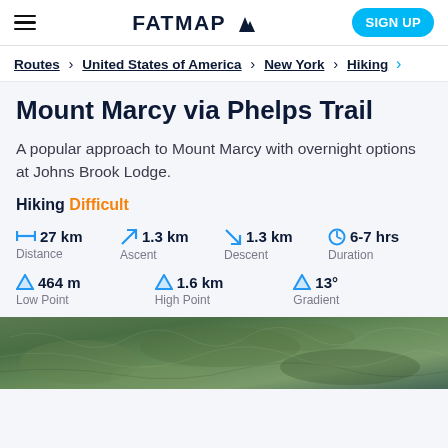FATMAP — SIGN UP
Routes > United States of America > New York > Hiking
Mount Marcy via Phelps Trail
A popular approach to Mount Marcy with overnight options at Johns Brook Lodge.
Hiking Difficult
Distance 27 km | Ascent 1.3 km | Descent 1.3 km | Duration 6-7 hrs | Low Point 464 m | High Point 1.6 km | Gradient 13°
[Figure (map): Topographic satellite map of Mount Marcy trail area]